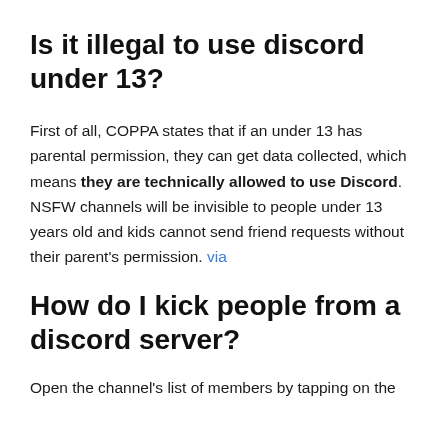Is it illegal to use discord under 13?
First of all, COPPA states that if an under 13 has parental permission, they can get data collected, which means they are technically allowed to use Discord. NSFW channels will be invisible to people under 13 years old and kids cannot send friend requests without their parent's permission. via
How do I kick people from a discord server?
Open the channel's list of members by tapping on the